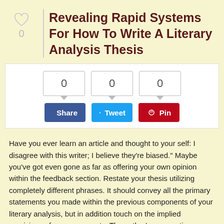Revealing Rapid Systems For How To Write A Literary Analysis Thesis
[Figure (infographic): Social share counter box with three counter bubbles showing 0, 0, 0 and three buttons: Facebook Share, Twitter Tweet, Pinterest Pin]
Have you ever learn an article and thought to your self: I disagree with this writer; I believe they're biased." Maybe you've got even gone as far as offering your own opinion within the feedback section. Restate your thesis utilizing completely different phrases. It should convey all the primary statements you made within the previous components of your literary analysis, but in addition touch on the implied provisions of your arguments. The author's perspective towards the subject or